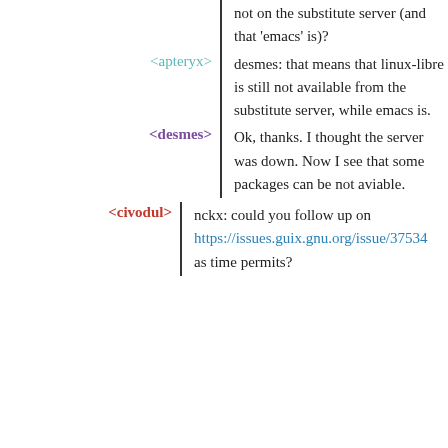not on the substitute server (and that 'emacs' is)?
<apteryx> desmes: that means that linux-libre is still not available from the substitute server, while emacs is.
<desmes> Ok, thanks. I thought the server was down. Now I see that some packages can be not aviable.
<civodul> nckx: could you follow up on https://issues.guix.gnu.org/issue/37534 as time permits?